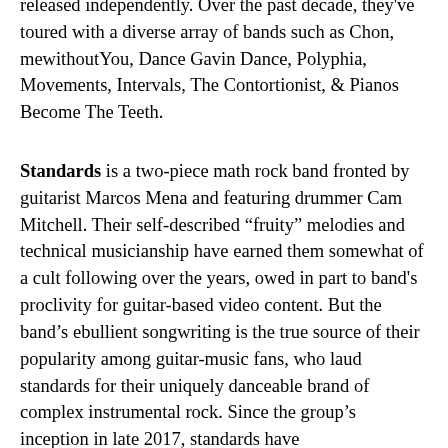released independently. Over the past decade, they've toured with a diverse array of bands such as Chon, mewithoutYou, Dance Gavin Dance, Polyphia, Movements, Intervals, The Contortionist, & Pianos Become The Teeth.
Standards is a two-piece math rock band fronted by guitarist Marcos Mena and featuring drummer Cam Mitchell. Their self-described “fruity” melodies and technical musicianship have earned them somewhat of a cult following over the years, owed in part to band's proclivity for guitar-based video content. But the band’s ebullient songwriting is the true source of their popularity among guitar-music fans, who laud standards for their uniquely danceable brand of complex instrumental rock. Since the group’s inception in late 2017, standards have